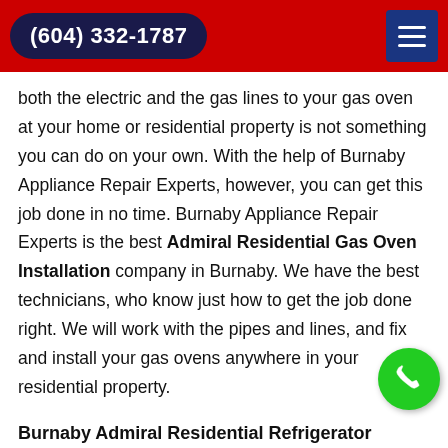(604) 332-1787
both the electric and the gas lines to your gas oven at your home or residential property is not something you can do on your own. With the help of Burnaby Appliance Repair Experts, however, you can get this job done in no time. Burnaby Appliance Repair Experts is the best Admiral Residential Gas Oven Installation company in Burnaby. We have the best technicians, who know just how to get the job done right. We will work with the pipes and lines, and fix and install your gas ovens anywhere in your residential property.
Burnaby Admiral Residential Refrigerator Installation